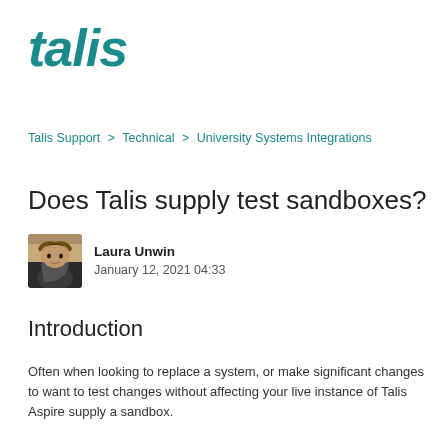[Figure (logo): Talis logo in teal italic bold text]
Talis Support > Technical > University Systems Integrations
Does Talis supply test sandboxes?
Laura Unwin
January 12, 2021 04:33
Introduction
Often when looking to replace a system, or make significant changes to want to test changes without affecting your live instance of Talis Aspire supply a sandbox.